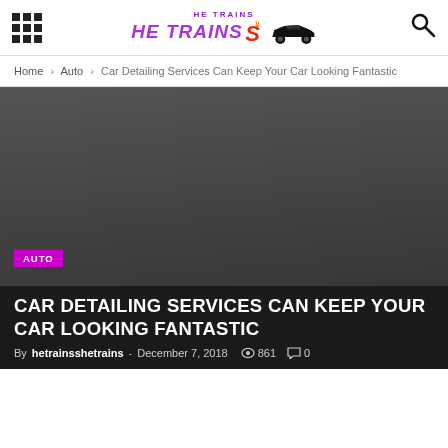HE TRAINS — website header with logo and navigation icons
Home › Auto › Car Detailing Services Can Keep Your Car Looking Fantastic
[Figure (photo): Dark grey hero image background for article banner]
AUTO
CAR DETAILING SERVICES CAN KEEP YOUR CAR LOOKING FANTASTIC
By hetrainsshetrains - December 7, 2018  861  0